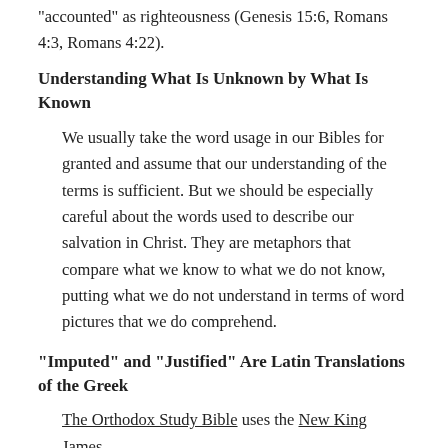“accounted” as righteousness (Genesis 15:6, Romans 4:3, Romans 4:22).
Understanding What Is Unknown by What Is Known
We usually take the word usage in our Bibles for granted and assume that our understanding of the terms is sufficient. But we should be especially careful about the words used to describe our salvation in Christ. They are metaphors that compare what we know to what we do not know, putting what we do not understand in terms of word pictures that we do comprehend.
“Imputed” and “Justified” Are Latin Translations of the Greek
The Orthodox Study Bible uses the New King James